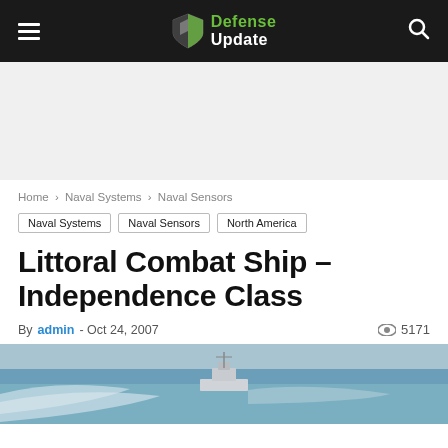Defense Update
Home › Naval Systems › Naval Sensors
Naval Systems | Naval Sensors | North America
Littoral Combat Ship – Independence Class
By admin - Oct 24, 2007  5171
[Figure (photo): Littoral Combat Ship Independence Class at sea, aerial view showing ship wake]